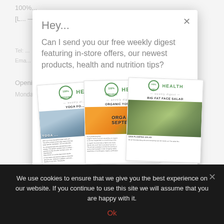Hey...
Can I send you our free weekly digest featuring in-store offers, our newest products, health and nutrition tips?
[Figure (screenshot): Three overlapping newsletter thumbnails for '100% HEALTH weekly digest' showing articles: 'YOGA FOR...', 'ORGANIC YOUR S...', and 'BIG FAT FACE SALAD']
We use cookies to ensure that we give you the best experience on our website. If you continue to use this site we will assume that you are happy with it.
Ok